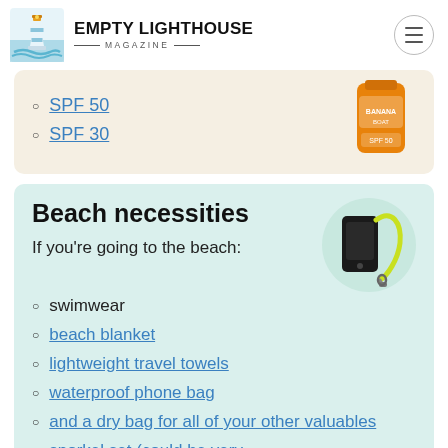EMPTY LIGHTHOUSE MAGAZINE
SPF 50
SPF 30
Beach necessities
If you're going to the beach:
swimwear
beach blanket
lightweight travel towels
waterproof phone bag
and a dry bag for all of your other valuables
snorkel set (could be very